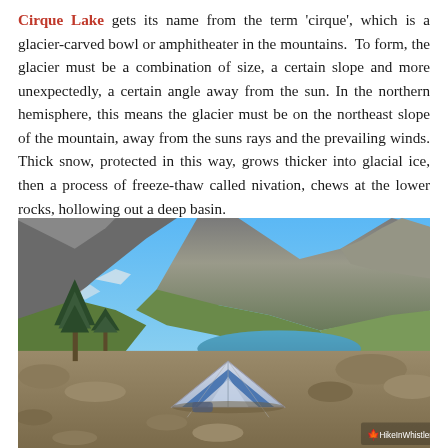Cirque Lake gets its name from the term 'cirque', which is a glacier-carved bowl or amphitheater in the mountains. To form, the glacier must be a combination of size, a certain slope and more unexpectedly, a certain angle away from the sun. In the northern hemisphere, this means the glacier must be on the northeast slope of the mountain, away from the suns rays and the prevailing winds. Thick snow, protected in this way, grows thicker into glacial ice, then a process of freeze-thaw called nivation, chews at the lower rocks, hollowing out a deep basin.
[Figure (photo): A blue and white camping tent set up on rocky terrain with Cirque Lake visible in the background, surrounded by mountains and evergreen trees under a clear blue sky. HikeInWhistler.com watermark visible in the lower right corner.]